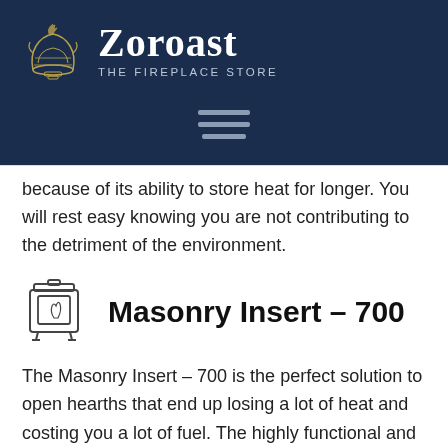[Figure (logo): Zoroast The Fireplace Store logo with decorative flame bowl icon on dark navy background]
because of its ability to store heat for longer. You will rest easy knowing you are not contributing to the detriment of the environment.
Masonry Insert – 700
The Masonry Insert – 700 is the perfect solution to open hearths that end up losing a lot of heat and costing you a lot of fuel. The highly functional and efficient inserts can transform your boring evenings into the most enjoyable by taking away your worry